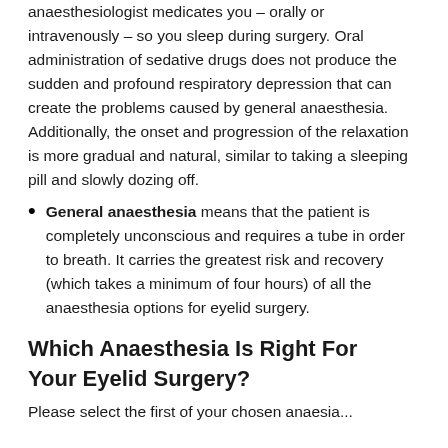anaesthesiologist medicates you – orally or intravenously – so you sleep during surgery. Oral administration of sedative drugs does not produce the sudden and profound respiratory depression that can create the problems caused by general anaesthesia. Additionally, the onset and progression of the relaxation is more gradual and natural, similar to taking a sleeping pill and slowly dozing off.
General anaesthesia means that the patient is completely unconscious and requires a tube in order to breath. It carries the greatest risk and recovery (which takes a minimum of four hours) of all the anaesthesia options for eyelid surgery.
Which Anaesthesia Is Right For Your Eyelid Surgery?
Please select the first of your chosen anaesia...